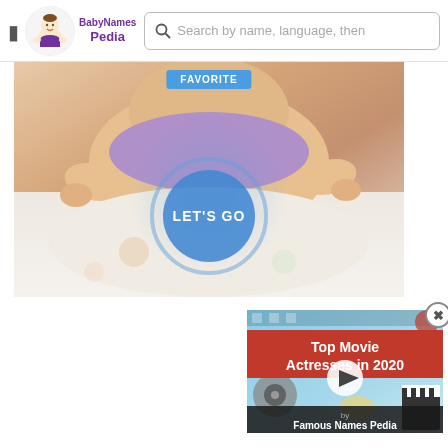BabyNamesPedia — Search by name, language, then
[Figure (photo): Baby lying on bed with LET'S GO button overlay and favorite button]
[Figure (screenshot): Video popup: Top Movie Actresses in 2020 by Famous Names Pedia]